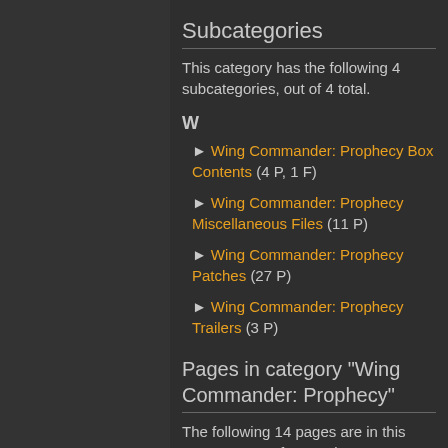Subcategories
This category has the following 4 subcategories, out of 4 total.
W
► Wing Commander: Prophecy Box Contents (4 P, 1 F)
► Wing Commander: Prophecy Miscellaneous Files (11 P)
► Wing Commander: Prophecy Patches (27 P)
► Wing Commander: Prophecy Trailers (3 P)
Pages in category "Wing Commander: Prophecy"
The following 14 pages are in this category, out of 14 total.